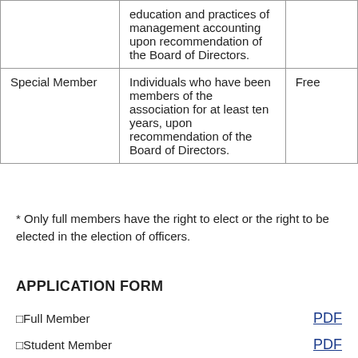|  | education and practices of management accounting upon recommendation of the Board of Directors. |  |
| Special Member | Individuals who have been members of the association for at least ten years, upon recommendation of the Board of Directors. | Free |
* Only full members have the right to elect or the right to be elected in the election of officers.
APPLICATION FORM
□Full Member   PDF
□Student Member   PDF
□Supporting Member   PDF